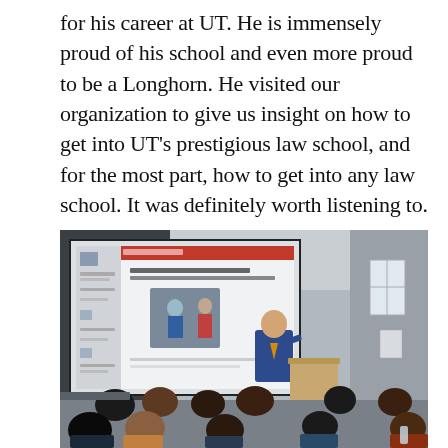for his career at UT. He is immensely proud of his school and even more proud to be a Longhorn. He visited our organization to give us insight on how to get into UT's prestigious law school, and for the most part, how to get into any law school. It was definitely worth listening to.
[Figure (photo): A man in a blue blazer and tie stands at a podium presenting a slideshow to an audience of students seated in a classroom. The projection screen shows a presentation with images.]